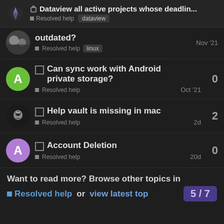Dataview all active projects whose deadlin... — Resolved help — dataview
outdated? — Resolved help — linux — Nov '21
Can sync work with Android private storage? — Resolved help — Oct '21 — 0
Help vault is missing in mac — Resolved help — 2d — 2
Account Deletion — Resolved help — 20d — 0
Want to read more? Browse other topics in
Resolved help or view latest top — 5/7